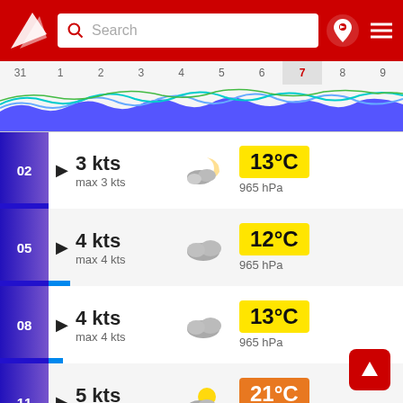[Figure (screenshot): App header with red background, Windy logo, search bar, location pin icon, and menu icon]
[Figure (infographic): Timeline date scrubber showing dates 31-9, with day 7 highlighted, and wave/wind chart below]
02  3 kts  max 3 kts  13°C  965 hPa
05  4 kts  max 4 kts  12°C  965 hPa
08  4 kts  max 4 kts  13°C  965 hPa
11  5 kts  max 7 kts  21°C  965 hPa
14  5 kts  max 6 kts  22°C  965 hPa
[Figure (infographic): Red scroll-up floating action button with up arrow]